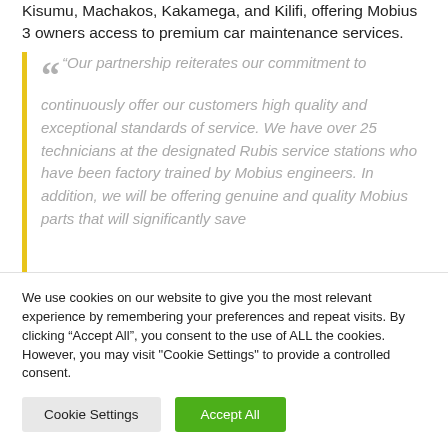Kisumu, Machakos, Kakamega, and Kilifi, offering Mobius 3 owners access to premium car maintenance services.
“Our partnership reiterates our commitment to continuously offer our customers high quality and exceptional standards of service. We have over 25 technicians at the designated Rubis service stations who have been factory trained by Mobius engineers. In addition, we will be offering genuine and quality Mobius parts that will significantly save
We use cookies on our website to give you the most relevant experience by remembering your preferences and repeat visits. By clicking “Accept All”, you consent to the use of ALL the cookies. However, you may visit "Cookie Settings" to provide a controlled consent.